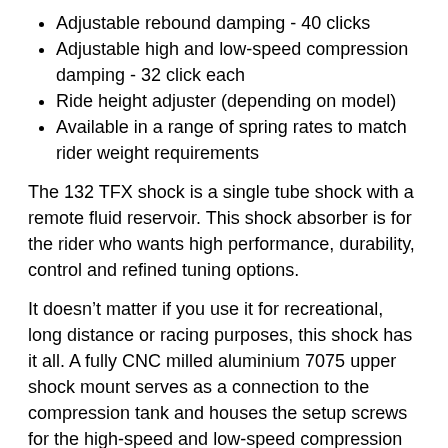Adjustable rebound damping - 40 clicks
Adjustable high and low-speed compression damping - 32 click each
Ride height adjuster (depending on model)
Available in a range of spring rates to match rider weight requirements
The 132 TFX shock is a single tube shock with a remote fluid reservoir. This shock absorber is for the rider who wants high performance, durability, control and refined tuning options.
It doesn't matter if you use it for recreational, long distance or racing purposes, this shock has it all. A fully CNC milled aluminium 7075 upper shock mount serves as a connection to the compression tank and houses the setup screws for the high-speed and low-speed compression adjusters.
It also features low friction seals which add up to a highly refined shock that can tuned with precision